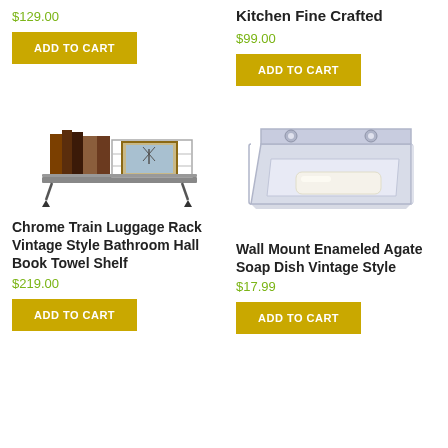$129.00
ADD TO CART
Kitchen Fine Crafted
$99.00
ADD TO CART
[Figure (photo): Chrome train luggage rack with books and a painting on it, vintage style bathroom hall book towel shelf]
[Figure (photo): White enameled wall mount soap dish with a bar of soap inside, vintage style]
Chrome Train Luggage Rack Vintage Style Bathroom Hall Book Towel Shelf
$219.00
ADD TO CART
Wall Mount Enameled Agate Soap Dish Vintage Style
$17.99
ADD TO CART